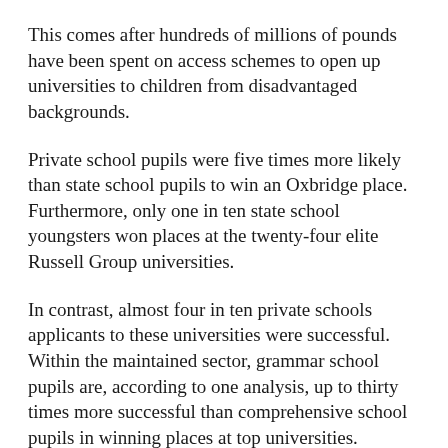This comes after hundreds of millions of pounds have been spent on access schemes to open up universities to children from disadvantaged backgrounds.
Private school pupils were five times more likely than state school pupils to win an Oxbridge place. Furthermore, only one in ten state school youngsters won places at the twenty-four elite Russell Group universities.
In contrast, almost four in ten private schools applicants to these universities were successful. Within the maintained sector, grammar school pupils are, according to one analysis, up to thirty times more successful than comprehensive school pupils in winning places at top universities.